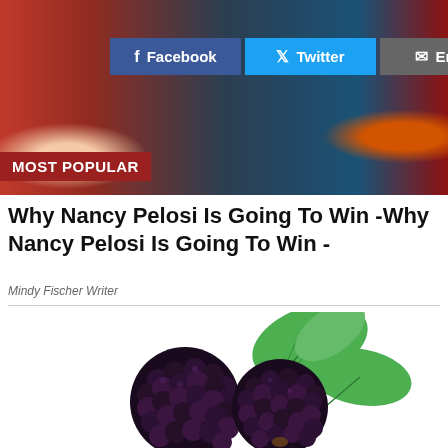[Figure (photo): Header photo showing two political figures against red and blue background with social share buttons overlay]
MOST POPULAR
Why Nancy Pelosi Is Going To Win -Why Nancy Pelosi Is Going To Win -
Mindy Fischer Writer
[Figure (photo): Two fresh blackberries with green leaves on white background]